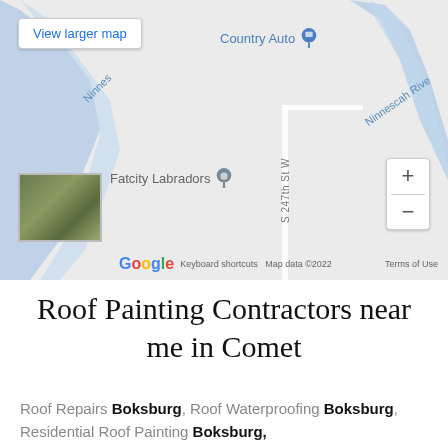[Figure (map): Google Maps screenshot showing Comet area with Ninnescah River, Country Auto business marker, Fatcity Labradors marker, S 247th St W road, zoom controls, Google logo, and a satellite thumbnail. Has 'View larger map' button in top left.]
Roof Painting Contractors near me in Comet
Roof Repairs Boksburg, Roof Waterproofing Boksburg, Residential Roof Painting Boksburg,